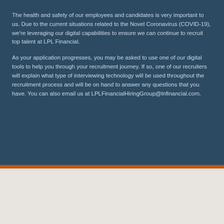The health and safety of our employees and candidates is very important to us. Due to the current situations related to the Novel Coronavirus (COVID-19), we're leveraging our digital capabilities to ensure we can continue to recruit top talent at LPL Financial.
As your application progresses, you may be asked to use one of our digital tools to help you through your recruitment journey. If so, one of our recruiters will explain what type of interviewing technology will be used throughout the recruitment process and will be on hand to answer any questions that you have. You can also email us at LPLFinancialHiringGroup@lnfinancial.com.
[Figure (logo): LPL Financial logo with stylized N icon and company name]
[Figure (photo): Partial bottom section showing LPL Financial branding imagery]